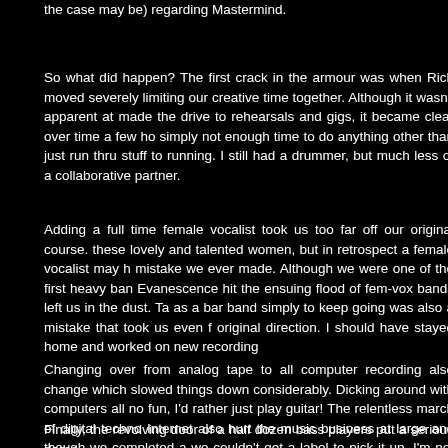the case may be) regarding Mastermind.
So what did happen? The first crack in the armour was when Rich moved severely limiting our creative time together. Although it wasn't apparent at made the drive to rehearsals and gigs, it became clear over time a few ho simply not enough time to do anything other than just run thru stuff to running. I still had a drummer, but much less of a collaborative partner.
Adding a full time female vocalist took us too far off our original course. these lovely and talented women, but in retrospect a female vocalist may h mistake we ever made. Although we were one of the first heavy ban Evanescence hit the ensuing flood of fem-vox bands left us in the dust. Ta as a bar band simply to keep going was also a mistake that took us even f original direction. I should have stayed home and worked on new recording
Changing over from analog tape to all computer recording also change which slowed things down considerably. Dicking around with computers all no fun, I'd rather just play guitar! The relentless march of digital techno Internet also hurt the music business at large and though we completed a we couldn't get a label to pick it up. I'm not blaming this totally on labels change in musical direction we were going thru was surely a contributin help. The morphing from prog to metal was also not something I was tot either and after a point my heart just wasn't in it anymore.
Finally, the revolving door of a half dozen bass players put a serious damp